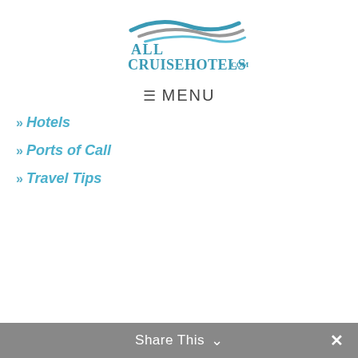[Figure (logo): AllCruiseHotels.com logo with teal and grey wave swoosh above teal text reading ALL CRUISEHOTELS.COM]
» Hotels
» Ports of Call
» Travel Tips
Share This ∨  ✕